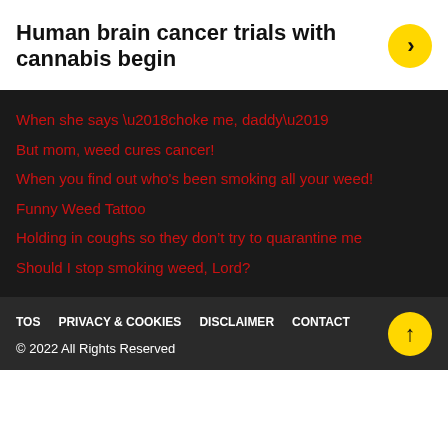Human brain cancer trials with cannabis begin
When she says ‘choke me, daddy’
But mom, weed cures cancer!
When you find out who's been smoking all your weed!
Funny Weed Tattoo
Holding in coughs so they don’t try to quarantine me
Should I stop smoking weed, Lord?
TOS   PRIVACY & COOKIES   DISCLAIMER   CONTACT
© 2022 All Rights Reserved